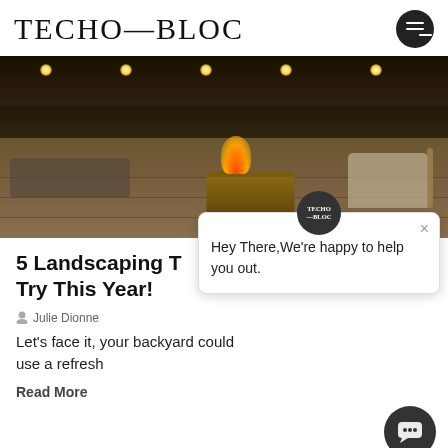TECHO—BLOC
[Figure (photo): Night time outdoor patio with stone fire pit, decorative lighting, stone walls, and outdoor seating area]
5 Landscaping T… Try This Year!
Julie Dionne
Let's face it, your backyard could use a refresh
Read More
[Figure (screenshot): Chat widget popup with Techo-Bloc logo showing message: Hey There, We're happy to help you out.]